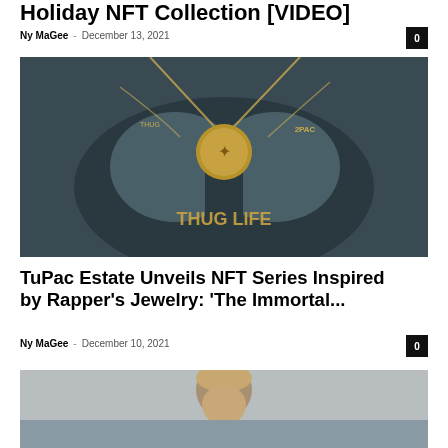Holiday NFT Collection [VIDEO]
Ny MaGee · December 13, 2021
[Figure (photo): Close-up of a dark metallic sculpture of a muscular torso with gold chain necklaces and Thug Life text and 2Pac medallion]
TuPac Estate Unveils NFT Series Inspired by Rapper's Jewelry: 'The Immortal...
Ny MaGee · December 10, 2021
[Figure (photo): Partial image of a person with sunglasses, cropped at bottom of page]